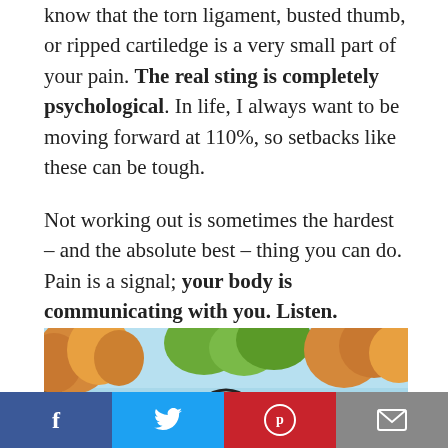know that the torn ligament, busted thumb, or ripped cartiledge is a very small part of your pain. The real sting is completely psychological. In life, I always want to be moving forward at 110%, so setbacks like these can be tough.
Not working out is sometimes the hardest – and the absolute best – thing you can do. Pain is a signal; your body is communicating with you. Listen.
[Figure (photo): Autumn trees with orange and green foliage against a blue sky, with a circular overlay element showing 'OW...']